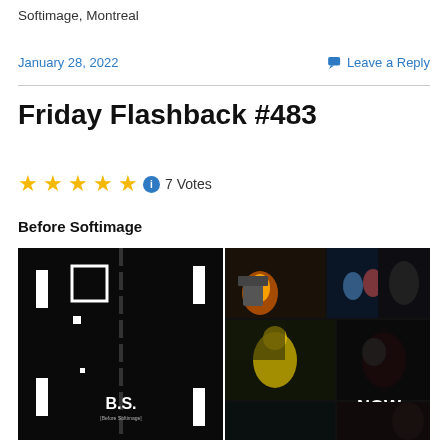Softimage, Montreal
January 28, 2022   Leave a Reply
Friday Flashback #483
★★★★★ ℹ 7 Votes
Before Softimage
[Figure (photo): Split image: left side shows a black Pong-style game screen with 'B.S. [Before Softimage]' text; right side shows a collage of 3D animated characters and scenes with 'NOW.' text overlay]